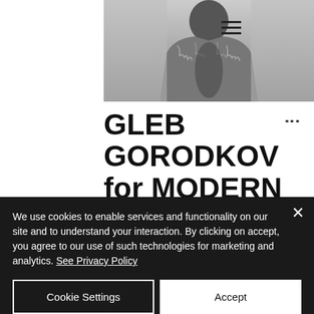[Figure (photo): Black and white fashion photo of a person wearing a heavily textured oversized coat/jacket, upper body visible. Hamburger menu icon overlaid at top left of image.]
GLEB GORODKOV for MODERN WEEKLY
Gleb Gorodkov granted another very graphic editorial for Modern Weekly.
We use cookies to enable services and functionality on our site and to understand your interaction. By clicking on accept, you agree to our use of such technologies for marketing and analytics. See Privacy Policy